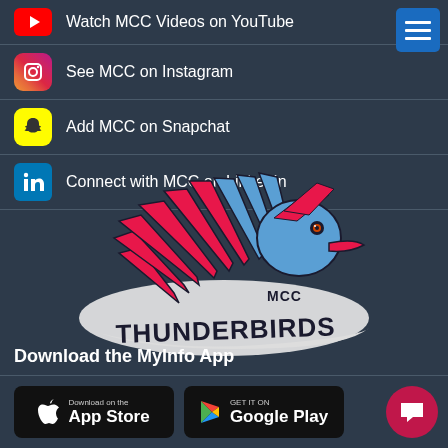Watch MCC Videos on YouTube
See MCC on Instagram
Add MCC on Snapchat
Connect with MCC on LinkedIn
[Figure (logo): MCC Thunderbirds mascot logo — a red and blue bird with text THUNDERBIRDS and MCC]
Download the MyInfo App
[Figure (screenshot): App Store and Google Play download badges]